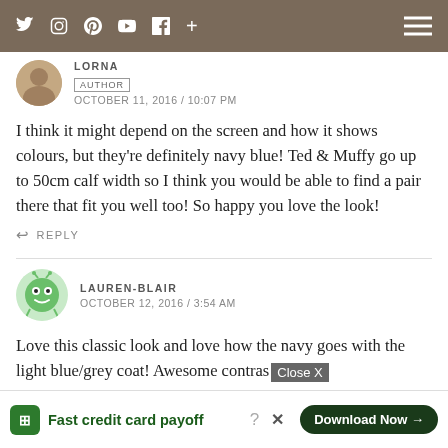Social media icons bar with hamburger menu
LORNA
AUTHOR
OCTOBER 11, 2016 / 10:07 PM
I think it might depend on the screen and how it shows colours, but they're definitely navy blue! Ted & Muffy go up to 50cm calf width so I think you would be able to find a pair there that fit you well too! So happy you love the look!
REPLY
LAUREN-BLAIR
OCTOBER 12, 2016 / 3:54 AM
Love this classic look and love how the navy goes with the light blue/grey coat! Awesome contras Laurer http://w
Close X
Fast credit card payoff
Download Now →